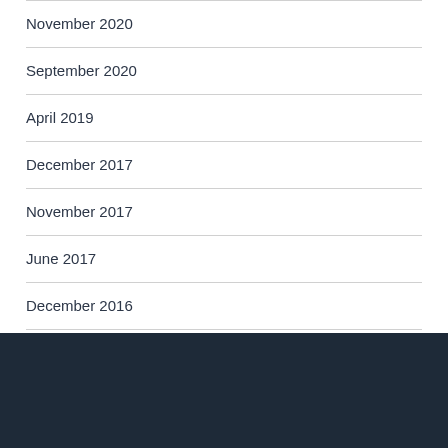November 2020
September 2020
April 2019
December 2017
November 2017
June 2017
December 2016